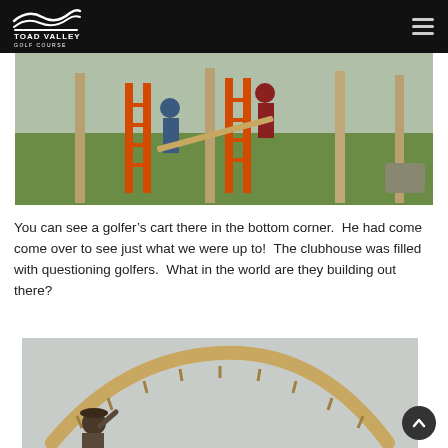Toad Valley Golf Course
[Figure (photo): Workers building a structure on a golf course with orange ladders, green grass in background, golfer's cart visible in bottom corner]
You can see a golfer’s cart there in the bottom corner.  He had come come over to see just what we were up to!  The clubhouse was filled with questioning golfers.  What in the world are they building out there?
[Figure (photo): A man in a cap examining a large curved wooden arch structure being built outdoors under an overcast sky]